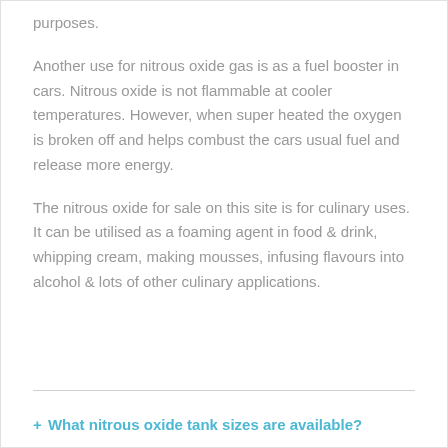purposes.
Another use for nitrous oxide gas is as a fuel booster in cars. Nitrous oxide is not flammable at cooler temperatures. However, when super heated the oxygen is broken off and helps combust the cars usual fuel and release more energy.
The nitrous oxide for sale on this site is for culinary uses. It can be utilised as a foaming agent in food & drink, whipping cream, making mousses, infusing flavours into alcohol & lots of other culinary applications.
+ What nitrous oxide tank sizes are available?